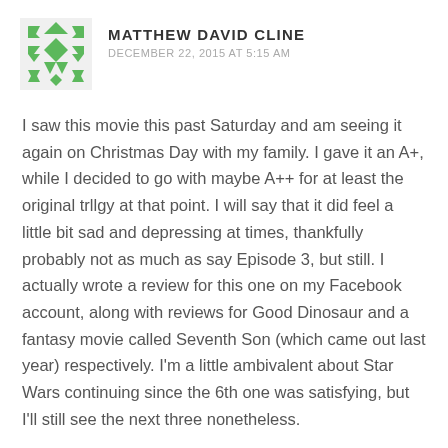MATTHEW DAVID CLINE
DECEMBER 22, 2015 AT 5:15 AM
I saw this movie this past Saturday and am seeing it again on Christmas Day with my family. I gave it an A+, while I decided to go with maybe A++ for at least the original trllgy at that point. I will say that it did feel a little bit sad and depressing at times, thankfully probably not as much as say Episode 3, but still. I actually wrote a review for this one on my Facebook account, along with reviews for Good Dinosaur and a fantasy movie called Seventh Son (which came out last year) respectively. I'm a little ambivalent about Star Wars continuing since the 6th one was satisfying, but I'll still see the next three nonetheless.
By the way, was it just me, or were you a little surprised to find that there was a trailer for Zootopia on this Star